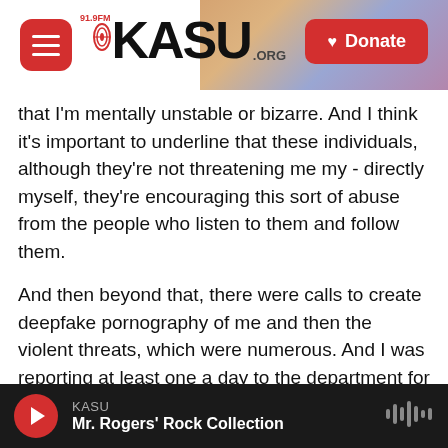[Figure (screenshot): KASU 91.9 FM radio website header with hamburger menu button, KASU.org logo, and red Donate button]
that I'm mentally unstable or bizarre. And I think it's important to underline that these individuals, although they're not threatening me my - directly myself, they're encouraging this sort of abuse from the people who listen to them and follow them.
And then beyond that, there were calls to create deepfake pornography of me and then the violent threats, which were numerous. And I was reporting at least one a day to the department for the three weeks that this campaign was going on before I resigned - things like, go hang yourself, you leftist, C-word. You're the new Goebbels; will you meet the
KASU
Mr. Rogers' Rock Collection